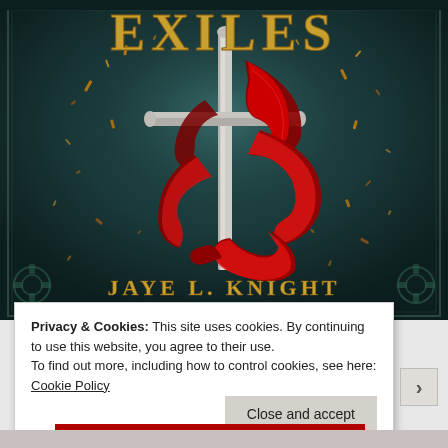[Figure (illustration): Book cover for 'Exiles' by Jaye L. Knight. Shows a sword with a red ribbon/cloth wrapped around it, set against a dark teal/green background with sparks and debris. The word 'EXILES' appears at the top in large gold/yellow letters, and 'JAYE L. KNIGHT' appears at the bottom in gold serif caps.]
Privacy & Cookies: This site uses cookies. By continuing to use this website, you agree to their use.
To find out more, including how to control cookies, see here: Cookie Policy